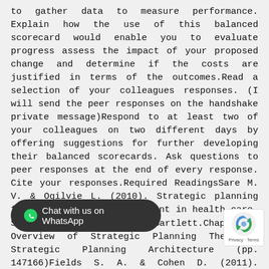to gather data to measure performance. Explain how the use of this balanced scorecard would enable you to evaluate progress assess the impact of your proposed change and determine if the costs are justified in terms of the outcomes.Read a selection of your colleagues responses. (I will send the peer responses on the handshake private message)Respond to at least two of your colleagues on two different days by offering suggestions for further developing their balanced scorecards. Ask questions to peer responses at the end of every response. Cite your responses.Required ReadingsSare M. V. & Ogilvie L. (2010). Strategic planning for nurses: Change management in health care. Sudbury MA: Jones and Bartlett.Chapter 8 Overview of Strategic Planning Theories: Strategic Planning Architecture (pp. 147166)Fields S. A. & Cohen D. (2011). Performance [balanced] scorecard in a patient-centered medical home. Family Medicine 43(10)